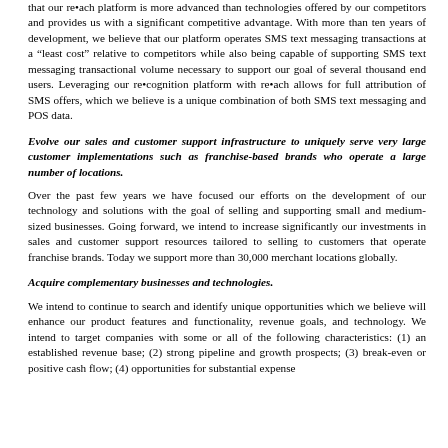that our re•ach platform is more advanced than technologies offered by our competitors and provides us with a significant competitive advantage. With more than ten years of development, we believe that our platform operates SMS text messaging transactions at a "least cost" relative to competitors while also being capable of supporting SMS text messaging transactional volume necessary to support our goal of several thousand end users. Leveraging our re•cognition platform with re•ach allows for full attribution of SMS offers, which we believe is a unique combination of both SMS text messaging and POS data.
Evolve our sales and customer support infrastructure to uniquely serve very large customer implementations such as franchise-based brands who operate a large number of locations.
Over the past few years we have focused our efforts on the development of our technology and solutions with the goal of selling and supporting small and medium-sized businesses. Going forward, we intend to increase significantly our investments in sales and customer support resources tailored to selling to customers that operate franchise brands. Today we support more than 30,000 merchant locations globally.
Acquire complementary businesses and technologies.
We intend to continue to search and identify unique opportunities which we believe will enhance our product features and functionality, revenue goals, and technology. We intend to target companies with some or all of the following characteristics: (1) an established revenue base; (2) strong pipeline and growth prospects; (3) break-even or positive cash flow; (4) opportunities for substantial expense